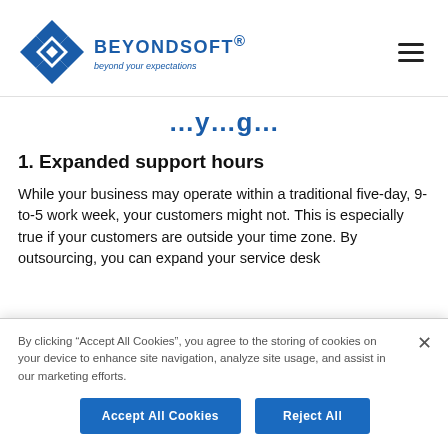[Figure (logo): Beyondsoft logo with diamond/cross shape in blue and text 'BEYONDSOFT beyond your expectations']
...y...g...
1. Expanded support hours
While your business may operate within a traditional five-day, 9-to-5 work week, your customers might not. This is especially true if your customers are outside your time zone. By outsourcing, you can expand your service desk
By clicking “Accept All Cookies”, you agree to the storing of cookies on your device to enhance site navigation, analyze site usage, and assist in our marketing efforts.